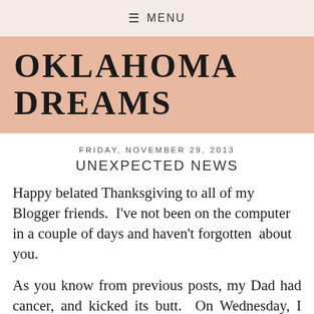≡ MENU
OKLAHOMA DREAMS
FRIDAY, NOVEMBER 29, 2013
UNEXPECTED NEWS
Happy belated Thanksgiving to all of my Blogger friends.  I've not been on the computer in a couple of days and haven't forgotten  about you.
As you know from previous posts, my Dad had cancer, and kicked its butt.  On Wednesday, I received a call from my Mom informing me Dad had taken a turn for the worse.  We came down to Texas to be by my Dad's side,  while friends take